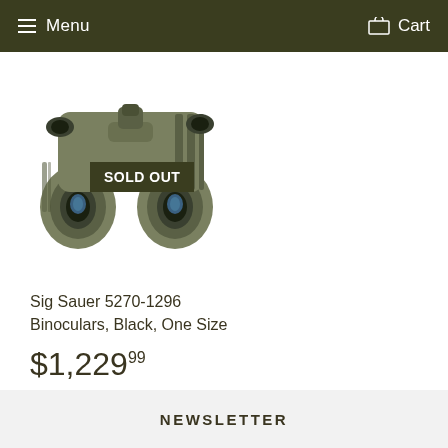Menu  Cart
[Figure (photo): Sig Sauer binoculars in olive/dark green color, shown at an angle. A dark green 'SOLD OUT' badge overlays the image.]
Sig Sauer 5270-1296
Binoculars, Black, One Size
$1,229.99
NEWSLETTER